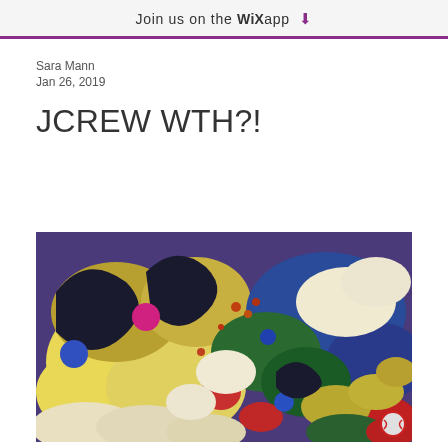Join us on the WiX app ↓
Sara Mann
Jan 26, 2019
JCREW WTH?!
[Figure (illustration): Colorful abstract psychedelic illustration with swirling shapes in yellow, gold, blue, green, red, white, and dark colors, featuring circular motifs, dots, and organic flowing forms.]